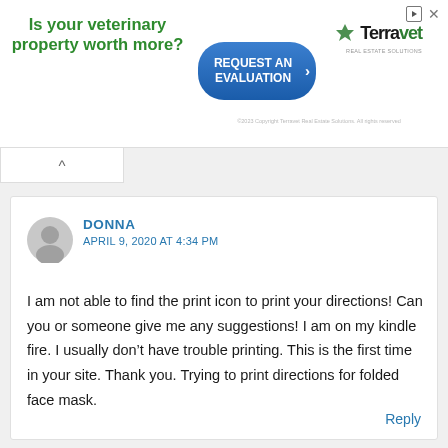[Figure (infographic): Terravet Real Estate Solutions advertisement banner. Green bold text: 'Is your veterinary property worth more?' with a blue button 'REQUEST AN EVALUATION' and Terravet logo with copyright notice.]
DONNA
APRIL 9, 2020 AT 4:34 PM
I am not able to find the print icon to print your directions! Can you or someone give me any suggestions! I am on my kindle fire. I usually don’t have trouble printing. This is the first time in your site. Thank you. Trying to print directions for folded face mask.
Reply